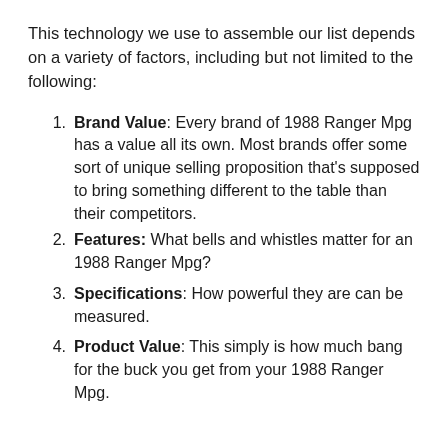This technology we use to assemble our list depends on a variety of factors, including but not limited to the following:
Brand Value: Every brand of 1988 Ranger Mpg has a value all its own. Most brands offer some sort of unique selling proposition that's supposed to bring something different to the table than their competitors.
Features: What bells and whistles matter for an 1988 Ranger Mpg?
Specifications: How powerful they are can be measured.
Product Value: This simply is how much bang for the buck you get from your 1988 Ranger Mpg.